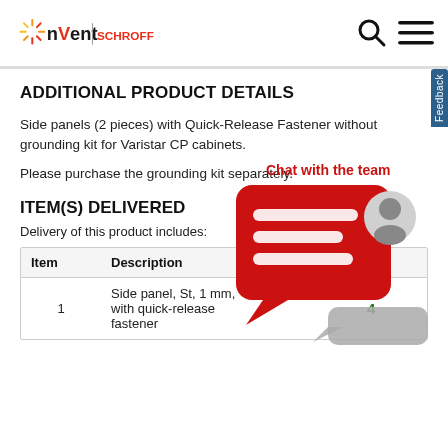nVent | SCHROFF
ADDITIONAL PRODUCT DETAILS
Side panels (2 pieces) with Quick-Release Fastener without grounding kit for Varistar CP cabinets.
Please purchase the grounding kit separately.
ITEM(S) DELIVERED
Delivery of this product includes:
| Item | Description | Qty |
| --- | --- | --- |
| 1 | Side panel, St, 1 mm, with quick-release fastener | 4 |
[Figure (other): Chat with the team popup overlay with red speech bubble and avatar photo]